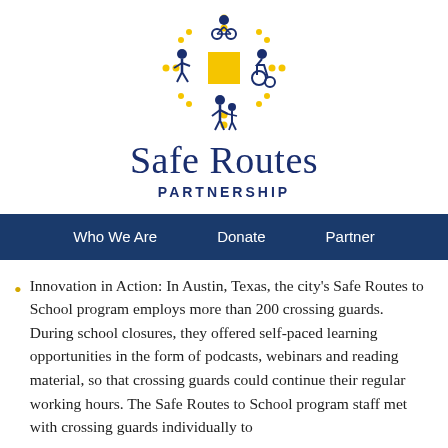[Figure (logo): Safe Routes Partnership logo with icons of a cyclist, walker, wheelchair user, and adult with child arranged around a yellow square with yellow starburst dots, above the text 'Safe Routes PARTNERSHIP' in navy blue]
Who We Are   Donate   Partner
Innovation in Action: In Austin, Texas, the city's Safe Routes to School program employs more than 200 crossing guards. During school closures, they offered self-paced learning opportunities in the form of podcasts, webinars and reading material, so that crossing guards could continue their regular working hours. The Safe Routes to School program staff met with crossing guards individually to